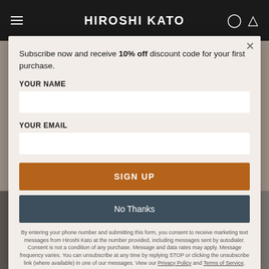HIROSHI KATO
Subscribe now and receive 10% off discount code for your first purchase.
YOUR NAME
YOUR EMAIL
SIGN UP
No Thanks
By entering your phone number and submitting this form, you consent to receive marketing text messages from Hiroshi Kato at the number provided, including messages sent by autodialer. Consent is not a condition of any purchase. Message and data rates may apply. Message frequency varies. You can unsubscribe at any time by replying STOP or clicking the unsubscribe link (where available) in one of our messages. View our Privacy Policy and Terms of Service.